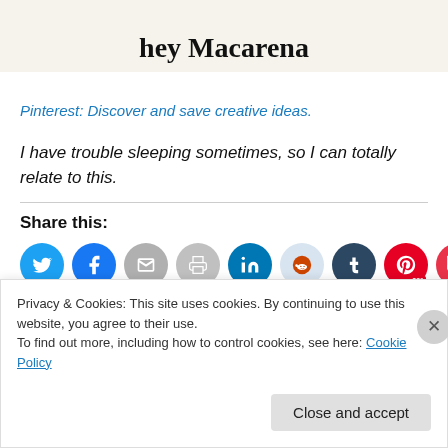[Figure (screenshot): Top banner area with bold serif text showing '...hey Macarena' on a cream/beige background]
Pinterest: Discover and save creative ideas.
I have trouble sleeping sometimes, so I can totally relate to this.
Share this:
[Figure (screenshot): Row of circular social share buttons: Twitter (blue), Facebook (blue), Email (grey), Print (grey), LinkedIn (teal), Reddit (light blue), Tumblr (dark blue), Pinterest (red with 281 badge), Pocket (red)]
Privacy & Cookies: This site uses cookies. By continuing to use this website, you agree to their use. To find out more, including how to control cookies, see here: Cookie Policy